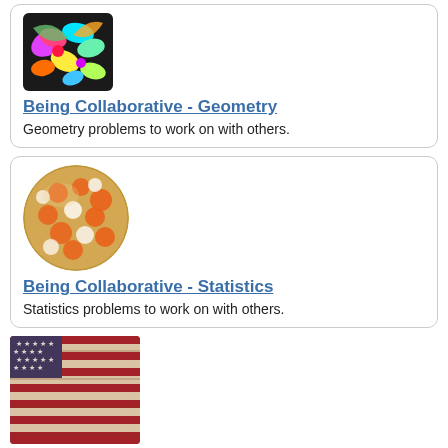[Figure (illustration): Colorful abstract image with butterflies and bright colors]
Being Collaborative - Geometry
Geometry problems to work on with others.
[Figure (illustration): A sphere decorated with orange and white circles/dots]
Being Collaborative - Statistics
Statistics problems to work on with others.
[Figure (photo): American flag with a weathered, painted look on wood]
American Billions
Age 11 to 14
Challenge Level ★
Play the divisibility game to create numbers in which